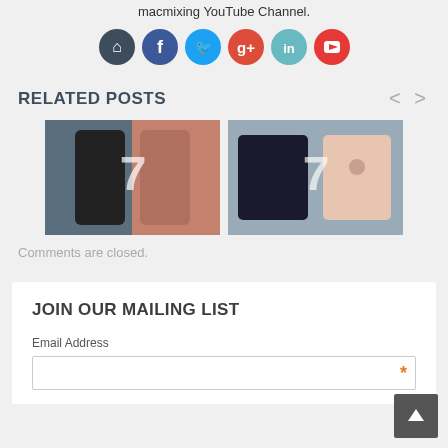macmixing YouTube Channel.
[Figure (illustration): Row of social media icon circles: home (dark), Facebook (blue), Twitter (light blue), Google+ (red), LinkedIn (teal), YouTube (red)]
RELATED POSTS
[Figure (photo): Two iPhone 7 photos side by side as related post thumbnails]
Comments are closed.
JOIN OUR MAILING LIST
Email Address